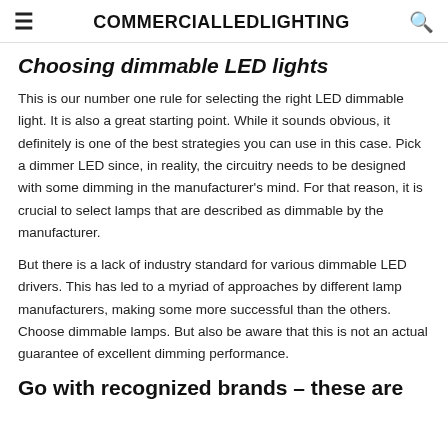COMMERCIALLEDLIGHTING
Choosing dimmable LED lights
This is our number one rule for selecting the right LED dimmable light. It is also a great starting point. While it sounds obvious, it definitely is one of the best strategies you can use in this case. Pick a dimmer LED since, in reality, the circuitry needs to be designed with some dimming in the manufacturer's mind. For that reason, it is crucial to select lamps that are described as dimmable by the manufacturer.
But there is a lack of industry standard for various dimmable LED drivers. This has led to a myriad of approaches by different lamp manufacturers, making some more successful than the others. Choose dimmable lamps. But also be aware that this is not an actual guarantee of excellent dimming performance.
Go with recognized brands – these are